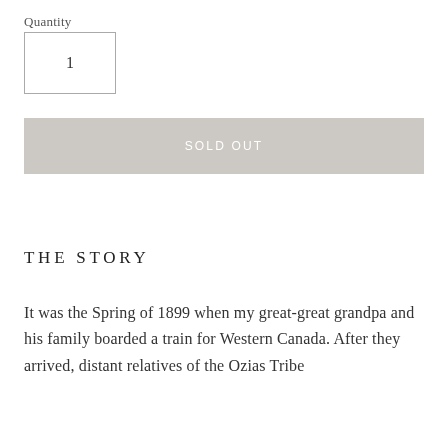Quantity
1
SOLD OUT
THE STORY
It was the Spring of 1899 when my great-great grandpa and his family boarded a train for Western Canada. After they arrived, distant relatives of the Ozias Tribe